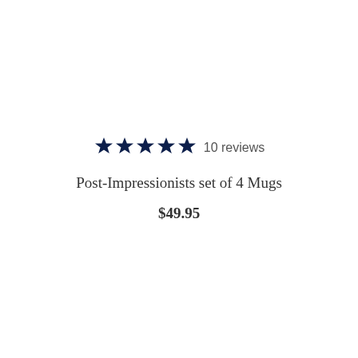[Figure (other): Five dark navy filled stars rating icons]
10 reviews
Post-Impressionists set of 4 Mugs
$49.95